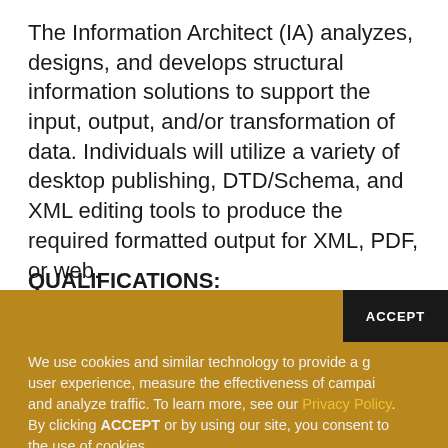The Information Architect (IA) analyzes, designs, and develops structural information solutions to support the input, output, and/or transformation of data. Individuals will utilize a variety of desktop publishing, DTD/Schema, and XML editing tools to produce the required formatted output for XML, PDF, or web.
QUALIFICATIONS:
We use cookies and similar technology to provide a g... user experience, measure the effectiveness of campaigns, and analyze traffic. To learn more, see our Privacy Policy. By clicking ACCEPT or by using our site, you consent to the use of cookies.